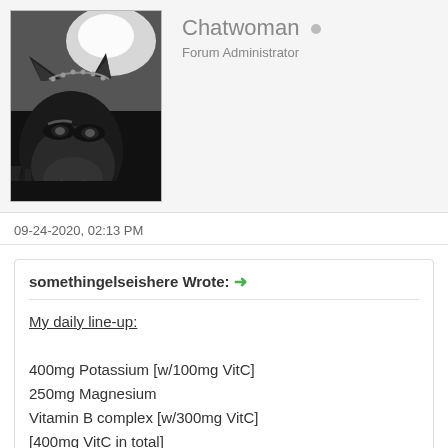[Figure (photo): Black and white avatar image of Catwoman character with mask and cat ears]
Chatwoman ●
Forum Administrator
09-24-2020, 02:13 PM
somethingelseishere Wrote: →
My daily line-up:
400mg Potassium [w/100mg VitC]
250mg Magnesium
Vitamin B complex [w/300mg VitC]
[400mg VitC in total]
Nice, thanks for sharing!
- - - - - - - - - - - - - - - - - - - - - - - - - - - - - - - -